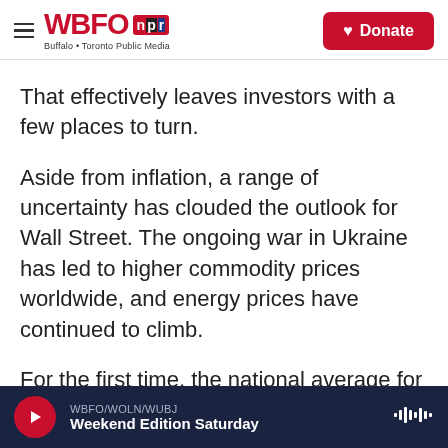WBFO NPR — Buffalo + Toronto Public Media — Donate
That effectively leaves investors with a few places to turn.
Aside from inflation, a range of uncertainty has clouded the outlook for Wall Street. The ongoing war in Ukraine has led to higher commodity prices worldwide, and energy prices have continued to climb.
For the first time, the national average for a gallon of regular gasoline is now more than $5.00, according to AAA.
WBFO/WOLN/WUBJ — Weekend Edition Saturday